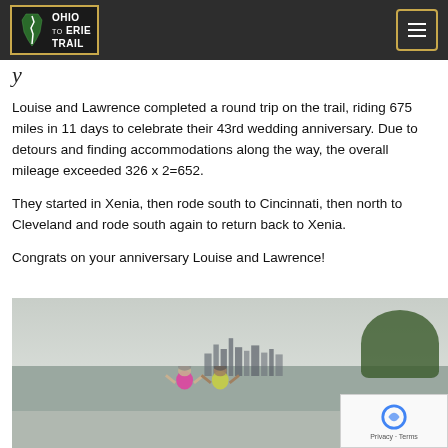Ohio to Erie Trail
Louise and Lawrence completed a round trip on the trail, riding 675 miles in 11 days to celebrate their 43rd wedding anniversary.  Due to detours and finding accommodations along the way, the overall mileage exceeded 326 x 2=652.
They started in Xenia, then rode south to Cincinnati, then north to Cleveland and rode south again to return back to Xenia.
Congrats on your anniversary Louise and Lawrence!
[Figure (photo): Two cyclists posing with thumbs up near a waterfront with a city skyline (Cleveland) in the background, on the Ohio to Erie Trail.]